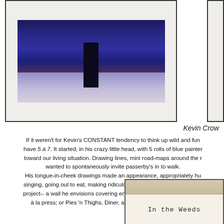[Figure (photo): Framed photograph showing a figure in black standing on a city street at night with blue-purple ambient light and tram tracks visible]
[Figure (photo): Partial view of a right-edge framed white mat]
Kevin Crow
If it weren't for Kevin's CONSTANT tendency to think up wild and fun... have 5 à 7. It started, in his crazy little head, with 5 rolls of blue painter... toward our living situation. Drawing lines, mini road-maps around the r... wanted to spontaneously invite passerby's in to walk. His tongue-in-cheek drawings made an appearance, appropriately hu... singing, going out to eat, making ridiculously funny statements, or addi... project-- a wall he envisions covering entirely with dots, he's obsessing... à la press; or Pies 'n Thighs, Diner, and/or Marlow & Sons (or Da...
[Figure (photo): Framed textile/cloth piece with handwritten text reading 'In the Weeds']